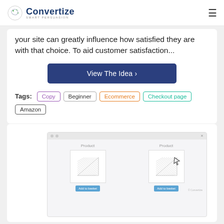Convertize SMART PERSUASION
your site can greatly influence how satisfied they are with that choice. To aid customer satisfaction...
View The Idea ›
Tags: Copy  Beginner  Ecommerce  Checkout page  Amazon
[Figure (screenshot): A browser window mockup showing two product cards each with a placeholder image and 'Add to basket' button, with a cursor icon. A Convertize watermark appears at bottom right.]